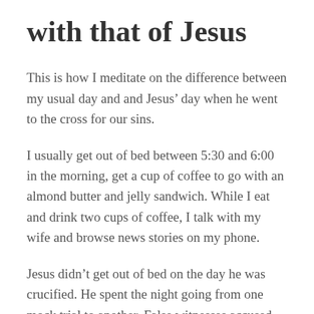with that of Jesus
This is how I meditate on the difference between my usual day and and Jesus’ day when he went to the cross for our sins.
I usually get out of bed between 5:30 and 6:00 in the morning, get a cup of coffee to go with an almond butter and jelly sandwich. While I eat and drink two cups of coffee, I talk with my wife and browse news stories on my phone.
Jesus didn’t get out of bed on the day he was crucified. He spent the night going from one mock trial to another. False witnesses accused